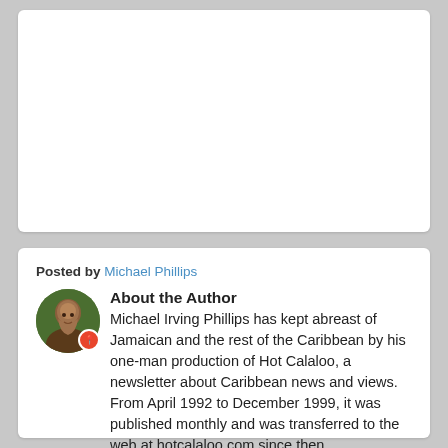[Figure (photo): White card area at top of page (blank/image area)]
Posted by Michael Phillips
About the Author
Michael Irving Phillips has kept abreast of Jamaican and the rest of the Caribbean by his one-man production of Hot Calaloo, a newsletter about Caribbean news and views. From April 1992 to December 1999, it was published monthly and was transferred to the web at hotcalaloo.com since then.